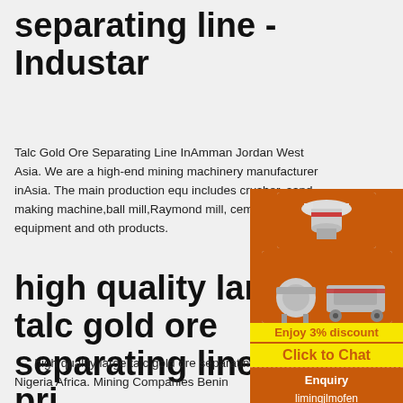separating line - Industar
Talc Gold Ore Separating Line InAmman Jordan West Asia. We are a high-end mining machinery manufacturer inAsia. The main production equ includes crusher, sand making machine,ball mill,Raymond mill, cement equipment and oth products.
high quality large talc gold ore separating line price in ...
[Figure (photo): Orange sidebar advertisement showing industrial mining machinery (crushers and mills), 'Enjoy 3% discount', 'Click to Chat', 'Enquiry', and 'limingjlmofen@sina.com']
high quality large talc gold ore separating line price in Benin City Nigeria Africa. Mining Companies Benin